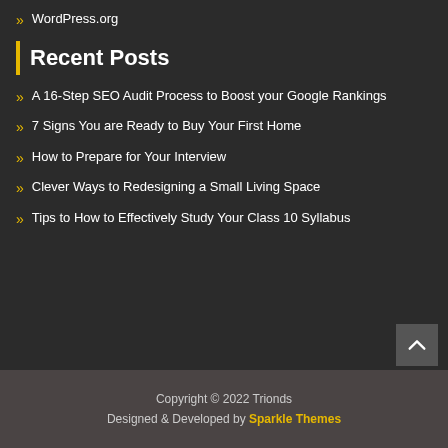» WordPress.org
Recent Posts
» A 16-Step SEO Audit Process to Boost your Google Rankings
» 7 Signs You are Ready to Buy Your First Home
» How to Prepare for Your Interview
» Clever Ways to Redesigning a Small Living Space
» Tips to How to Effectively Study Your Class 10 Syllabus
Copyright © 2022 Trionds
Designed & Developed by Sparkle Themes